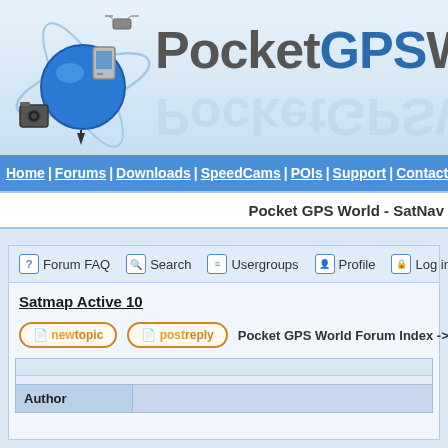[Figure (logo): PocketGPS World website header with globe logo and brand name 'PocketGPSW' (partially visible)]
Home | Forums | Downloads | SpeedCams | POIs | Support | Contact Us
Pocket GPS World - SatNav (partially visible)
Forum FAQ  Search  Usergroups  Profile  Log in for private (partially visible)
Satmap Active 10
new topic  post reply  Pocket GPS World Forum Index -> Satmap (partially visible)
| Author |  |
| --- | --- |